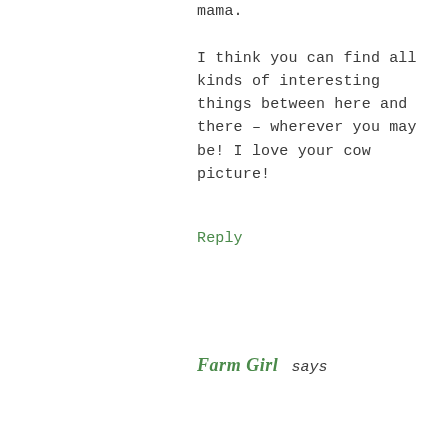mama.

I think you can find all kinds of interesting things between here and there – wherever you may be! I love your cow picture!
Reply
Farm Girl says